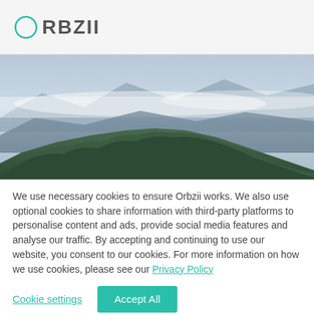ORBZII
[Figure (photo): Landscape photo of green forested hills with misty mountains and cloudy sky in the background]
We use necessary cookies to ensure Orbzii works. We also use optional cookies to share information with third-party platforms to personalise content and ads, provide social media features and analyse our traffic. By accepting and continuing to use our website, you consent to our cookies. For more information on how we use cookies, please see our Privacy Policy
Cookie settings | Accept All